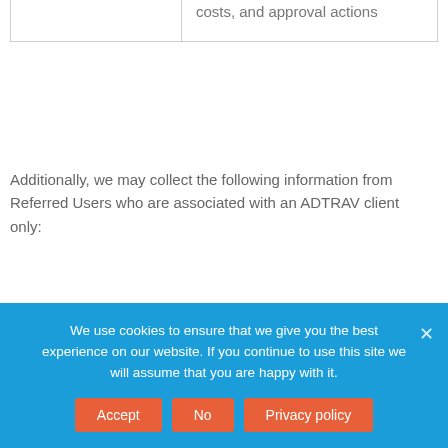|  | costs, and approval actions |
Additionally, we may collect the following information from Referred Users who are associated with an ADTRAV client only:
| Organizational information | Organization information such as employee ID, supervisory, reporting hierarchy |
We use cookies to ensure that we give you the best experience on our website. If you continue to use this site we will assume that you are happy with it.